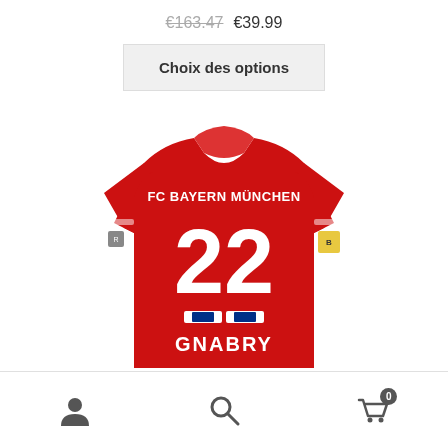€163.47  €39.99
Choix des options
[Figure (photo): FC Bayern München red jersey number 22 GNABRY, shown from the back]
User icon, Search icon, Cart icon with badge 0